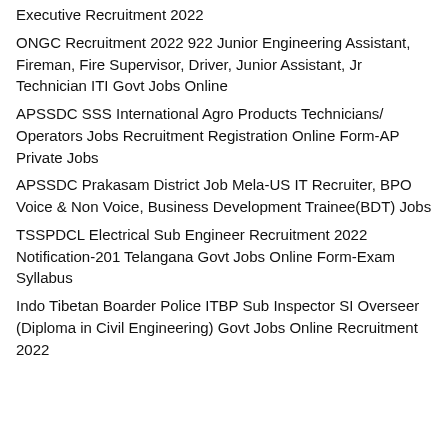Executive Recruitment 2022
ONGC Recruitment 2022 922 Junior Engineering Assistant, Fireman, Fire Supervisor, Driver, Junior Assistant, Jr Technician ITI Govt Jobs Online
APSSDC SSS International Agro Products Technicians/Operators Jobs Recruitment Registration Online Form-AP Private Jobs
APSSDC Prakasam District Job Mela-US IT Recruiter, BPO Voice & Non Voice, Business Development Trainee(BDT) Jobs
TSSPDCL Electrical Sub Engineer Recruitment 2022 Notification-201 Telangana Govt Jobs Online Form-Exam Syllabus
Indo Tibetan Boarder Police ITBP Sub Inspector SI Overseer (Diploma in Civil Engineering) Govt Jobs Online Recruitment 2022